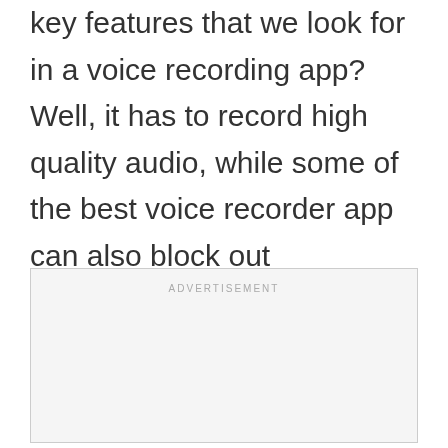key features that we look for in a voice recording app? Well, it has to record high quality audio, while some of the best voice recorder app can also block out background noise to enhance the quality further.
[Figure (other): Advertisement placeholder box with 'ADVERTISEMENT' label at the top center]